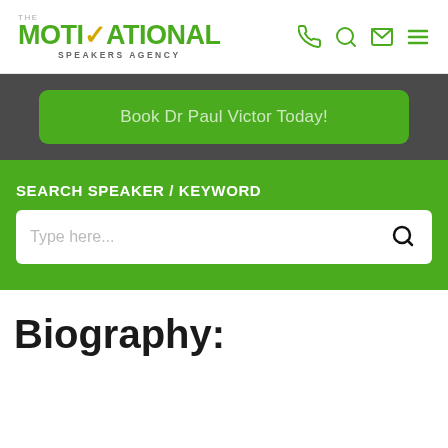[Figure (logo): The Motivational Speakers Agency logo with green text and checkmark]
[Figure (infographic): Navigation icons: phone, search, mail, hamburger menu in green]
Book Dr Paul Victor Today!
SEARCH SPEAKER / KEYWORD
Type here...
Biography: